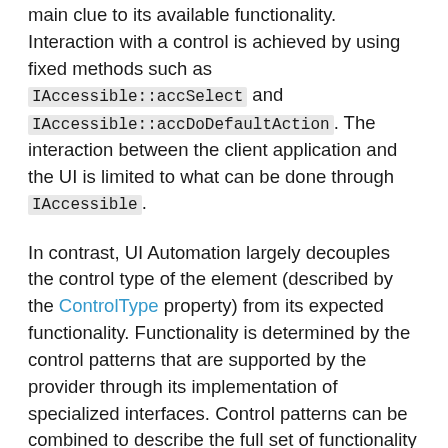main clue to its available functionality. Interaction with a control is achieved by using fixed methods such as IAccessible::accSelect and IAccessible::accDoDefaultAction. The interaction between the client application and the UI is limited to what can be done through IAccessible.
In contrast, UI Automation largely decouples the control type of the element (described by the ControlType property) from its expected functionality. Functionality is determined by the control patterns that are supported by the provider through its implementation of specialized interfaces. Control patterns can be combined to describe the full set of functionality supported by a particular UI element. Some providers are required to support a particular control pattern; for example, the provider for a check box must support the Toggle control pattern. Other providers are required to support one or more of a set of control patterns;